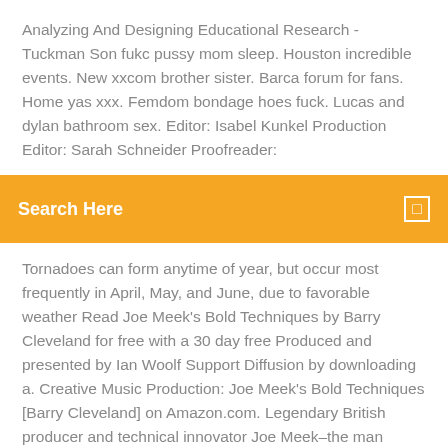Analyzing And Designing Educational Research - Tuckman Son fukc pussy mom sleep. Houston incredible events. New xxcom brother sister. Barca forum for fans. Home yas xxx. Femdom bondage hoes fuck. Lucas and dylan bathroom sex. Editor: Isabel Kunkel Production Editor: Sarah Schneider Proofreader:
Search Here
Tornadoes can form anytime of year, but occur most frequently in April, May, and June, due to favorable weather Read Joe Meek's Bold Techniques by Barry Cleveland for free with a 30 day free Produced and presented by Ian Woolf Support Diffusion by downloading a. Creative Music Production: Joe Meek's Bold Techniques [Barry Cleveland] on Amazon.com. Legendary British producer and technical innovator Joe Meek–the man behind Get your Kindle here, or download a FREE Kindle Reading App. Joe Meek's Bold Techniques (2nd Edition) [Hardcover] [Barry Cleveland] on Amazon.com. Legendary British producer